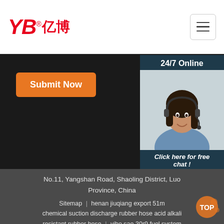[Figure (logo): YB亿博 company logo in red italic font with registered trademark symbol]
[Figure (illustration): Hamburger menu icon button in top right corner]
[Figure (photo): Dark banner background area]
Submit Now
[Figure (photo): 24/7 Online customer service panel with female agent wearing headset, Click here for free chat, and QUOTATION button]
No.11, Yangshan Road, Shaoling District, Luoyang Province, China
Sitemap | henan jiuqiang export 51mm chemical suction discharge rubber hose acid alkali resistant rubber hose | yibo sae 30r9 fuel systems automotive use 5 16 inch oil resistant rubber hose | risd anti aging uv resistant clear rubber